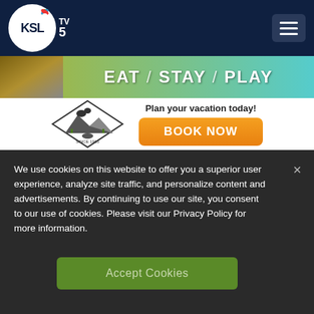[Figure (logo): KSL TV5 NBC logo in white circle on dark navy header with hamburger menu button on the right]
[Figure (infographic): Advertisement banner: EAT / STAY / PLAY with nature background image on top, SeeYellowstone logo on bottom left, 'Plan your vacation today!' text and orange BOOK NOW button on bottom right]
We use cookies on this website to offer you a superior user experience, analyze site traffic, and personalize content and advertisements. By continuing to use our site, you consent to our use of cookies. Please visit our Privacy Policy for more information.
Accept Cookies